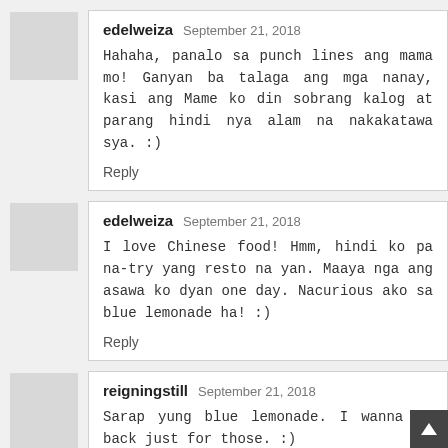edelweiza  September 21, 2018
Hahaha, panalo sa punch lines ang mama mo! Ganyan ba talaga ang mga nanay, kasi ang Mame ko din sobrang kalog at parang hindi nya alam na nakakatawa sya. :)
Reply
edelweiza  September 21, 2018
I love Chinese food! Hmm, hindi ko pa na-try yang resto na yan. Maaya nga ang asawa ko dyan one day. Nacurious ako sa blue lemonade ha! :)
Reply
reigningstill  September 21, 2018
Sarap yung blue lemonade. I wanna go back just for those. :)
Reply